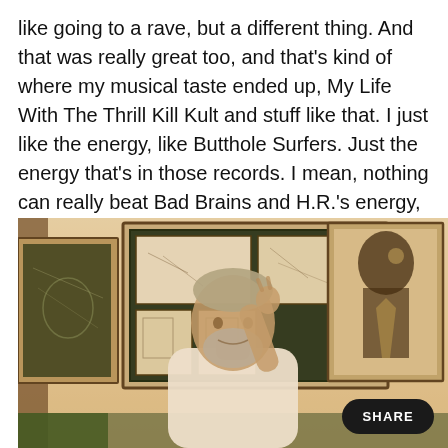like going to a rave, but a different thing. And that was really great too, and that's kind of where my musical taste ended up, My Life With The Thrill Kill Kult and stuff like that. I just like the energy, like Butthole Surfers. Just the energy that's in those records. I mean, nothing can really beat Bad Brains and H.R.'s energy, but getting that level of energy is so sick to me.
[Figure (photo): A bearded man with gray hair sitting and gesturing with one hand raised, framed art prints on the wall behind him including a large portrait of a person, warm sepia toned photograph]